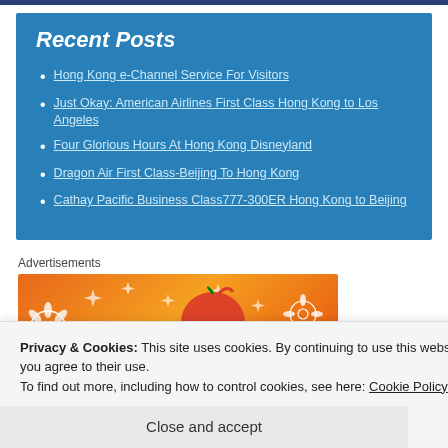Recent Posts
Hong Kong e-Channel Service For Visitors
Just Okay: American Airlines First Class Hong Kong to Los Angeles
Four Glorious Hours At Hong Kong Disneyland
Dragon Air First Class-Beijing To Hong Kong
Cathay Pacific Business Class777-300ER Hong Kong to Beijing
Advertisements
[Figure (illustration): Orange/gradient advertisement banner with decorative floral and geometric doodle illustrations in white outline]
Privacy & Cookies: This site uses cookies. By continuing to use this website, you agree to their use.
To find out more, including how to control cookies, see here: Cookie Policy
Close and accept